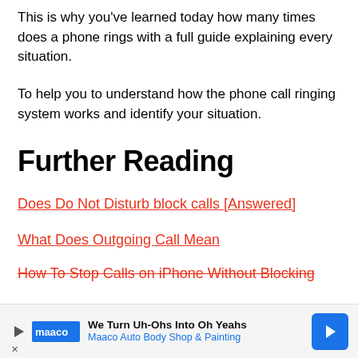This is why you've learned today how many times does a phone rings with a full guide explaining every situation.
To help you to understand how the phone call ringing system works and identify your situation.
Further Reading
Does Do Not Disturb block calls [Answered]
What Does Outgoing Call Mean
How To Stop Calls on iPhone Without Blocking
[Figure (infographic): Advertisement banner: Maaco Auto Body Shop & Painting. Text: We Turn Uh-Ohs Into Oh Yeahs. Maaco Auto Body Shop & Painting. Features play button, Maaco logo, and blue arrow icon.]